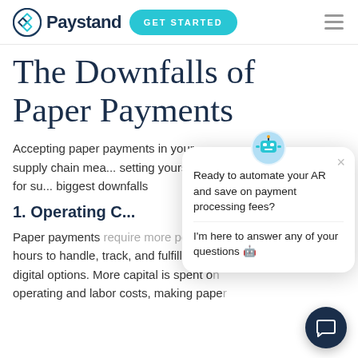Paystand — GET STARTED
The Downfalls of Paper Payments
Accepting paper payments in your supply chain means you're setting yourself up for success. Here are the biggest downfalls...
1. Operating C...
Paper payments require more personnel hours to handle, track, and fulfill than digital options. More capital is spent on operating and labor costs, making paper...
[Figure (screenshot): Chat popup widget: 'Ready to automate your AR and save on payment processing fees? I'm here to answer any of your questions 🤖' with close button and avatar icon]